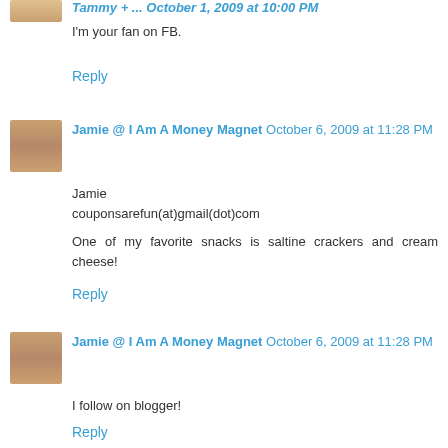I'm your fan on FB.
Reply
Jamie @ I Am A Money Magnet October 6, 2009 at 11:28 PM
Jamie couponsarefun(at)gmail(dot)com
One of my favorite snacks is saltine crackers and cream cheese!
Reply
Jamie @ I Am A Money Magnet October 6, 2009 at 11:28 PM
I follow on blogger!
Reply